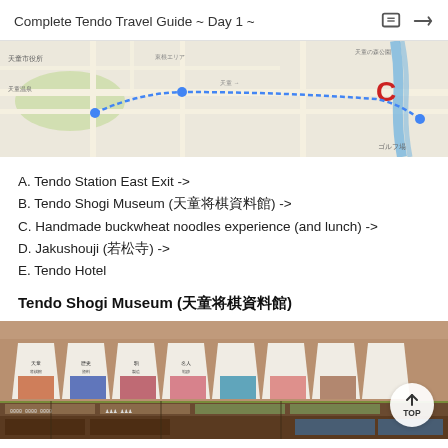Complete Tendo Travel Guide ~ Day 1 ~
[Figure (map): Google Maps screenshot showing a route in Tendo, Japan with a red marker labeled C in the upper right area, blue river visible, and various Japanese text labels]
A. Tendo Station East Exit ->
B. Tendo Shogi Museum (天童将棋資料館) ->
C. Handmade buckwheat noodles experience (and lunch) ->
D. Jakushouji (若松寺) ->
E. Tendo Hotel
Tendo Shogi Museum (天童将棋資料館)
[Figure (photo): Interior of Tendo Shogi Museum showing a curved display wall with large shogi piece-shaped panels containing text and photos, with display cases below]